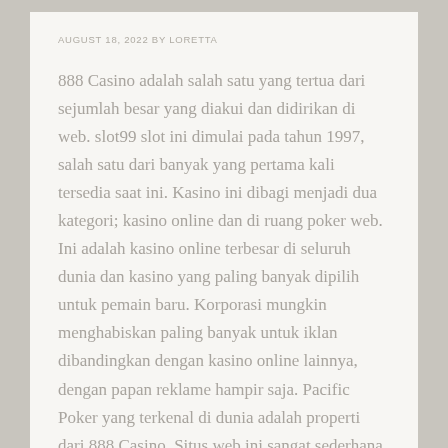AUGUST 18, 2022 BY LORETTA
888 Casino adalah salah satu yang tertua dari sejumlah besar yang diakui dan didirikan di web. slot99 slot ini dimulai pada tahun 1997, salah satu dari banyak yang pertama kali tersedia saat ini. Kasino ini dibagi menjadi dua kategori; kasino online dan di ruang poker web. Ini adalah kasino online terbesar di seluruh dunia dan kasino yang paling banyak dipilih untuk pemain baru. Korporasi mungkin menghabiskan paling banyak untuk iklan dibandingkan dengan kasino online lainnya, dengan papan reklame hampir saja. Pacific Poker yang terkenal di dunia adalah properti dari 888 Casino. Situs web ini sangat sederhana dan sederhana. Semua yang Anda